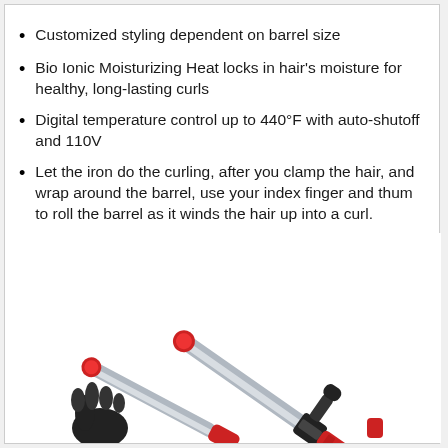Customized styling dependent on barrel size
Bio Ionic Moisturizing Heat locks in hair's moisture for healthy, long-lasting curls
Digital temperature control up to 440°F with auto-shutoff and 110V
Let the iron do the curling, after you clamp the hair, and wrap around the barrel, use your index finger and thum to roll the barrel as it winds the hair up into a curl.
[Figure (photo): Two red and silver curling irons with black clamps, displayed crossing each other, with a black heat-resistant glove accessory visible at the bottom left.]